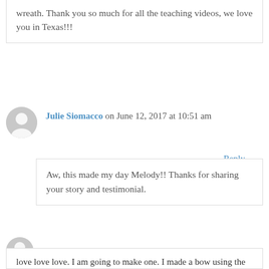wreath. Thank you so much for all the teaching videos, we love you in Texas!!!
Reply
Julie Siomacco on June 12, 2017 at 10:51 am
Aw, this made my day Melody!! Thanks for sharing your story and testimonial.
Reply
Shelley Cline on May 24, 2016 at 12:42 pm
love love love. I am going to make one. I made a bow using the funky bow technique